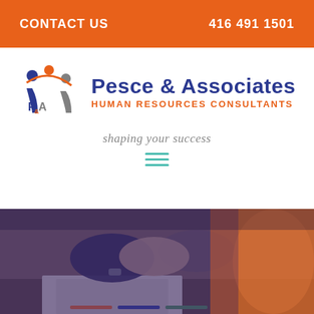CONTACT US   416 491 1501
[Figure (logo): Pesce & Associates Human Resources Consultants logo with stylized P&A icon featuring figures and tagline 'shaping your success']
[Figure (photo): Photo of two people shaking hands over a desk with papers and pens, overlaid with a purple/blue and orange tint gradient]